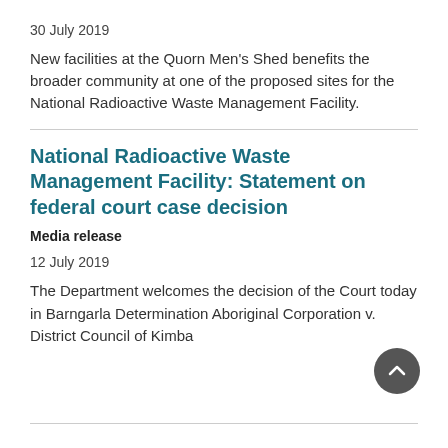30 July 2019
New facilities at the Quorn Men's Shed benefits the broader community at one of the proposed sites for the National Radioactive Waste Management Facility.
National Radioactive Waste Management Facility: Statement on federal court case decision
Media release
12 July 2019
The Department welcomes the decision of the Court today in Barngarla Determination Aboriginal Corporation v. District Council of Kimba